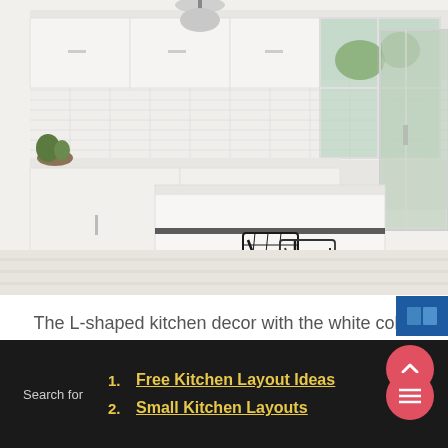[Figure (photo): Modern white L-shaped kitchen with white cabinets, white countertops, subway tile backsplash, a kitchen island with two black wire bar stools, pendant lights, and a glass sliding door leading to outdoor area. Bright and airy with natural light.]
The L-shaped kitchen decor with the white color scheme makes the room appear more spacious, clean and shiny. Don't forget to add a kitchen island to add extra space and a dining table for your guests. White L-shaped with kitchen
Search for
1. Free Kitchen Layout Ideas
2. Small Kitchen Layouts